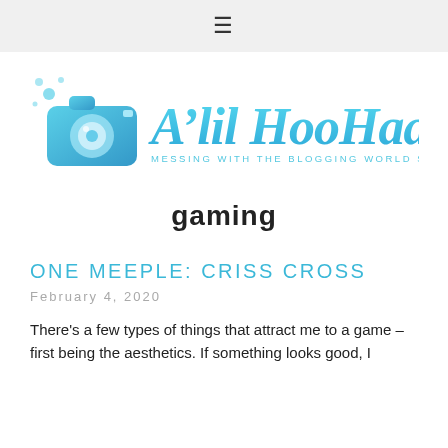≡ (hamburger menu)
[Figure (logo): A'lil HooHaa blog logo with camera icon and tagline: MESSING WITH THE BLOGGING WORLD SINCE 2005]
gaming
ONE MEEPLE: CRISS CROSS
February 4, 2020
There's a few types of things that attract me to a game – first being the aesthetics. If something looks good, I